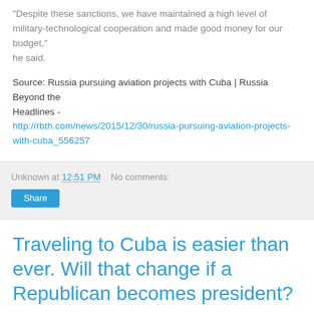"Despite these sanctions, we have maintained a high level of military-technological cooperation and made good money for our budget," he said.
Source: Russia pursuing aviation projects with Cuba | Russia Beyond the Headlines - http://rbth.com/news/2015/12/30/russia-pursuing-aviation-projects-with-cuba_556257
Unknown at 12:51 PM   No comments:
Traveling to Cuba is easier than ever. Will that change if a Republican becomes president?